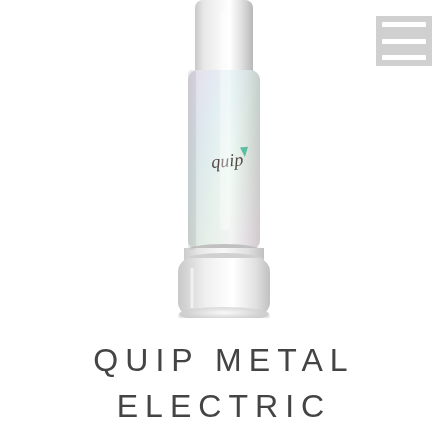[Figure (photo): Close-up product photo of a Quip Metal Electric toothbrush. The toothbrush handle is metallic/chrome with a pearlescent iridescent finish. The 'quip' brand logo with a small green checkmark is visible on the handle. The base of the handle features a white cylindrical battery/mount cap. The toothbrush head is not shown — only the handle middle and lower portions are visible against a white background.]
QUIP METAL ELECTRIC